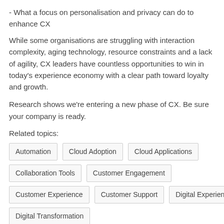- What a focus on personalisation and privacy can do to enhance CX
While some organisations are struggling with interaction complexity, aging technology, resource constraints and a lack of agility, CX leaders have countless opportunities to win in today's experience economy with a clear path toward loyalty and growth.
Research shows we're entering a new phase of CX. Be sure your company is ready.
Related topics:
Automation
Cloud Adoption
Cloud Applications
Collaboration Tools
Customer Engagement
Customer Experience
Customer Support
Digital Experience
Digital Transformation